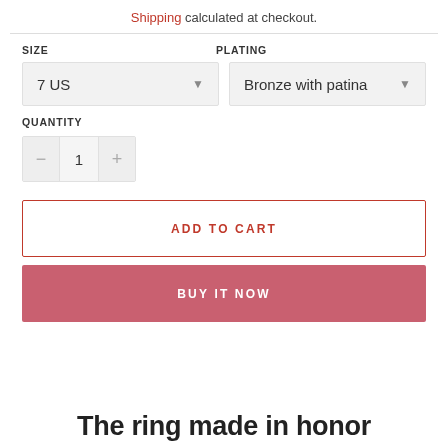Shipping calculated at checkout.
SIZE
PLATING
7 US
Bronze with patina
QUANTITY
ADD TO CART
BUY IT NOW
The ring made in honor